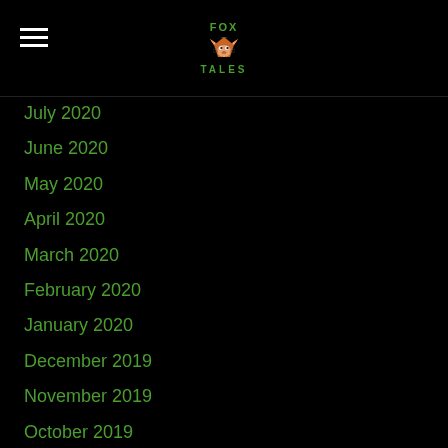FOX TALES
July 2020
June 2020
May 2020
April 2020
March 2020
February 2020
January 2020
December 2019
November 2019
October 2019
September 2019
August 2019
July 2019
June 2019
May 2019
April 2019
March 2019